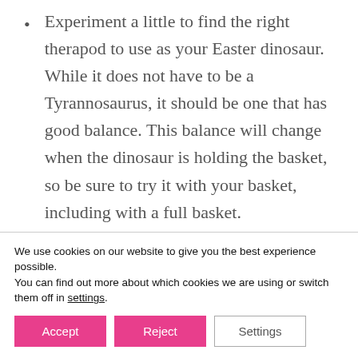Experiment a little to find the right therapod to use as your Easter dinosaur. While it does not have to be a Tyrannosaurus, it should be one that has good balance. This balance will change when the dinosaur is holding the basket, so be sure to try it with your basket, including with a full basket.
If you can't find an appropriately sized basket or bucket, get some small chocolate...
We use cookies on our website to give you the best experience possible.
You can find out more about which cookies we are using or switch them off in settings.